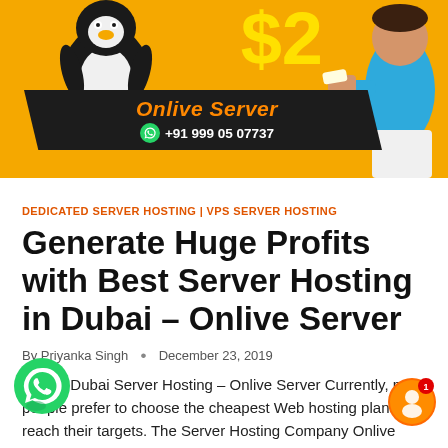[Figure (illustration): Onlive Server advertisement banner with orange background, Tux penguin mascot on left, $2 price in yellow on upper right, person in blue shirt on right, black ribbon with 'Onlive Server' orange logo text and WhatsApp icon with phone number +91 999 05 07737]
DEDICATED SERVER HOSTING | VPS SERVER HOSTING
Generate Huge Profits with Best Server Hosting in Dubai – Onlive Server
By Priyanka Singh • December 23, 2019
Cheap Dubai Server Hosting – Onlive Server Currently, most people prefer to choose the cheapest Web hosting plans to reach their targets. The Server Hosting Company Onlive Server offers Dedicated Server Hosting and